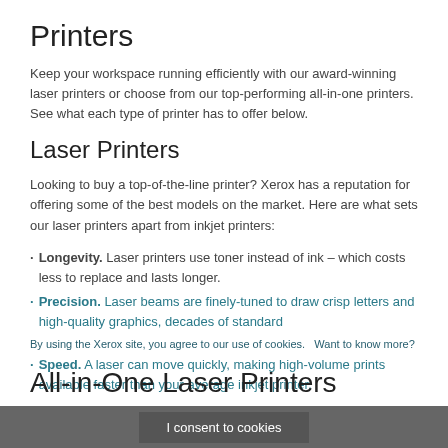Printers
Keep your workspace running efficiently with our award-winning laser printers or choose from our top-performing all-in-one printers. See what each type of printer has to offer below.
Laser Printers
Looking to buy a top-of-the-line printer? Xerox has a reputation for offering some of the best models on the market. Here are what sets our laser printers apart from inkjet printers:
Longevity. Laser printers use toner instead of ink – which costs less to replace and lasts longer.
Precision. Laser beams are finely-tuned to draw crisp letters and high-quality graphics, decades of standard
Speed. A laser can move quickly, making high-volume prints available faster than your average inkjet printer.
All-in-One Laser Printers